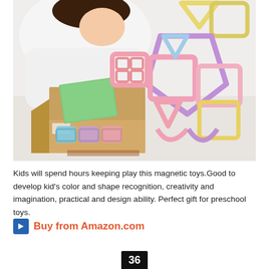[Figure (photo): A child playing with colorful pastel magnetic building tiles/shapes. A large geometric structure made of pink, purple, yellow, and blue magnetic frames is assembled on a white table. A cardboard box with magnetic pieces is open in the foreground.]
Kids will spend hours keeping play this magnetic toys.Good to develop kid's color and shape recognition, creativity and imagination, practical and design ability. Perfect gift for preschool toys.
Buy from Amazon.com
36